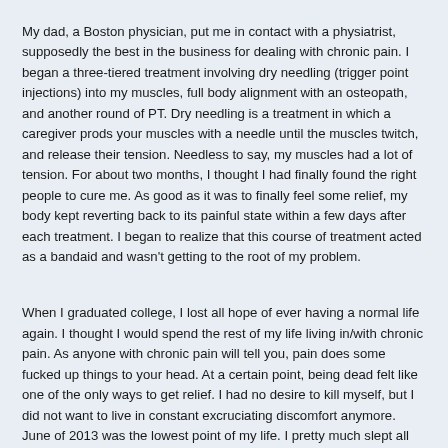My dad, a Boston physician, put me in contact with a physiatrist, supposedly the best in the business for dealing with chronic pain. I began a three-tiered treatment involving dry needling (trigger point injections) into my muscles, full body alignment with an osteopath, and another round of PT. Dry needling is a treatment in which a caregiver prods your muscles with a needle until the muscles twitch, and release their tension. Needless to say, my muscles had a lot of tension. For about two months, I thought I had finally found the right people to cure me. As good as it was to finally feel some relief, my body kept reverting back to its painful state within a few days after each treatment. I began to realize that this course of treatment acted as a bandaid and wasn't getting to the root of my problem.
When I graduated college, I lost all hope of ever having a normal life again. I thought I would spend the rest of my life living in/with chronic pain. As anyone with chronic pain will tell you, pain does some fucked up things to your head. At a certain point, being dead felt like one of the only ways to get relief. I had no desire to kill myself, but I did not want to live in constant excruciating discomfort anymore. June of 2013 was the lowest point of my life. I pretty much slept all day to try to escape my pain. I didn't recognize the person I had become. How did I get here? Why couldn't any doctor or person help me get better?